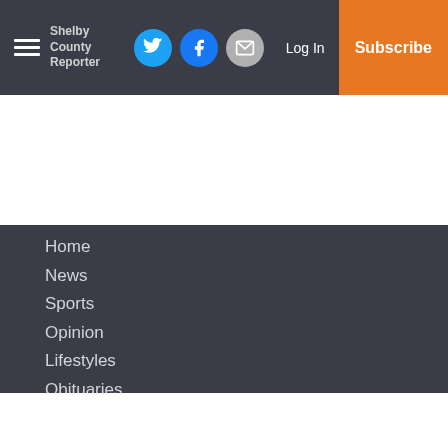Shelby County Reporter — header with hamburger menu, social icons (Twitter, Facebook, Email), Log In, Subscribe
Home
News
Sports
Opinion
Lifestyles
Obituaries
Business
Faith
Special Sections
Calendar
Small Business
Services
About Us
Subscriptions
Policies